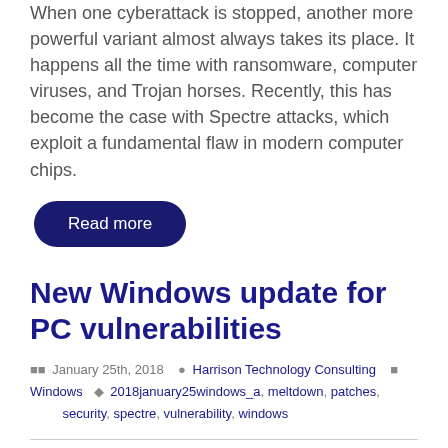When one cyberattack is stopped, another more powerful variant almost always takes its place. It happens all the time with ransomware, computer viruses, and Trojan horses. Recently, this has become the case with Spectre attacks, which exploit a fundamental flaw in modern computer chips.
Read more
New Windows update for PC vulnerabilities
January 25th, 2018  Harrison Technology Consulting  Windows  2018january25windows_a, meltdown, patches, security, spectre, vulnerability, windows
Two newly discovered CPU chip vulnerabilities, known as Meltdown and Spectre, make it possible for hackers to steal all sorts of confidential...